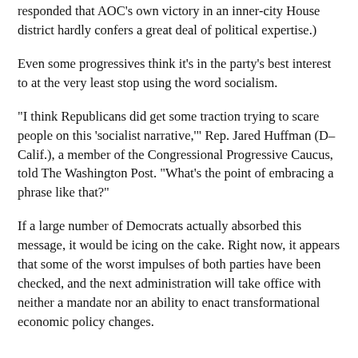responded that AOC's own victory in an inner-city House district hardly confers a great deal of political expertise.)
Even some progressives think it's in the party's best interest to at the very least stop using the word socialism.
"I think Republicans did get some traction trying to scare people on this 'socialist narrative,'" Rep. Jared Huffman (D–Calif.), a member of the Congressional Progressive Caucus, told The Washington Post. "What's the point of embracing a phrase like that?"
If a large number of Democrats actually absorbed this message, it would be icing on the cake. Right now, it appears that some of the worst impulses of both parties have been checked, and the next administration will take office with neither a mandate nor an ability to enact transformational economic policy changes.
https://reason.com/2020/11/06/socialism-2020-trump-biden-rebuke-left/